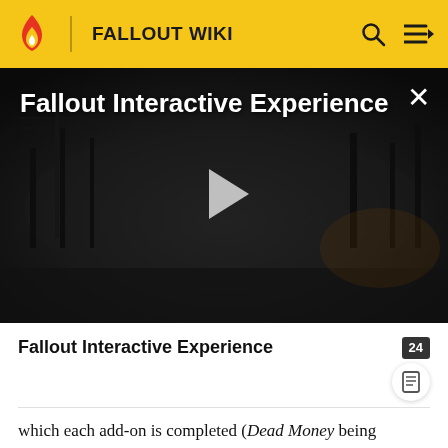FALLOUT WIKI
[Figure (screenshot): Dark post-apocalyptic video still with dead trees and foggy atmosphere, showing 'Fallout Interactive Experience' title text and a play button in the center. A close (X) button appears in the top right.]
Fallout Interactive Experience
which each add-on is completed (Dead Money being completed last/close to last). God also levels with the protagonist, but has no maximum allowed level, and